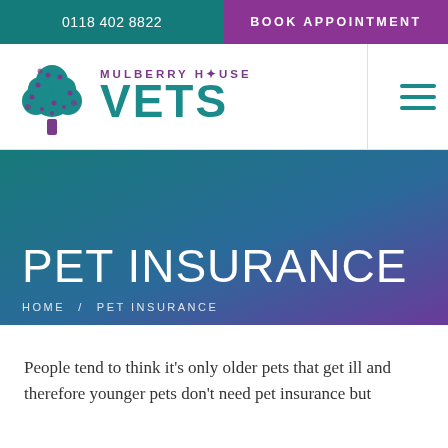0118 402 8822
BOOK APPOINTMENT
[Figure (logo): Mulberry House Vets logo with tree icon and teal VETS text]
PET INSURANCE
HOME / PET INSURANCE
People tend to think it's only older pets that get ill and therefore younger pets don't need pet insurance but